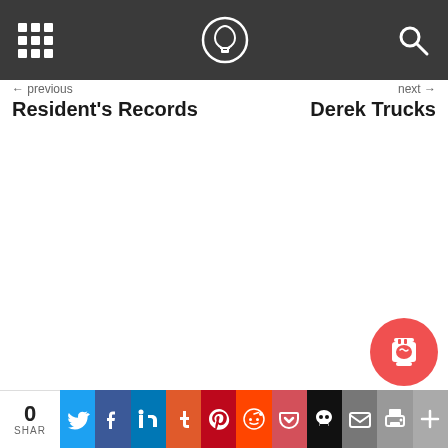Navigation bar with grid icon, logo, and search icon
Resident's Records
Derek Trucks
[Figure (screenshot): Share bar with 0 shares, social media buttons: Twitter, Facebook, LinkedIn, Tumblr, Pinterest, Reddit, Pocket, Skull, Email, Print, More]
[Figure (other): Red circular coffee/tip button]